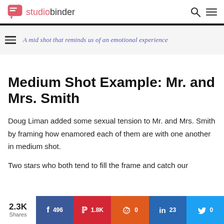studiobinder
A mid shot that reminds us of an emotional experience
Medium Shot Example: Mr. and Mrs. Smith
Doug Liman added some sexual tension to Mr. and Mrs. Smith by framing how enamored each of them are with one another in medium shot.
Two stars who both tend to fill the frame and catch our
2.3K Shares | f 496 | p 1.8K | reddit 0 | in 23 | t 0